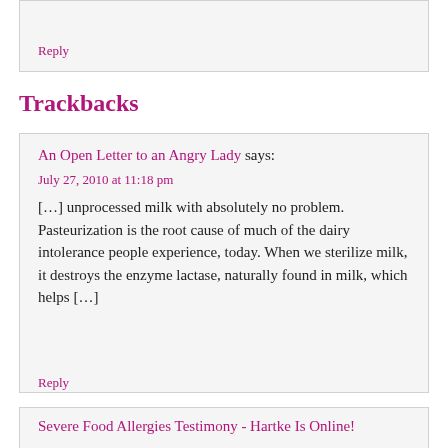Reply
Trackbacks
An Open Letter to an Angry Lady says:
July 27, 2010 at 11:18 pm
[…] unprocessed milk with absolutely no problem. Pasteurization is the root cause of much of the dairy intolerance people experience, today. When we sterilize milk, it destroys the enzyme lactase, naturally found in milk, which helps […]
Reply
Severe Food Allergies Testimony - Hartke Is Online!